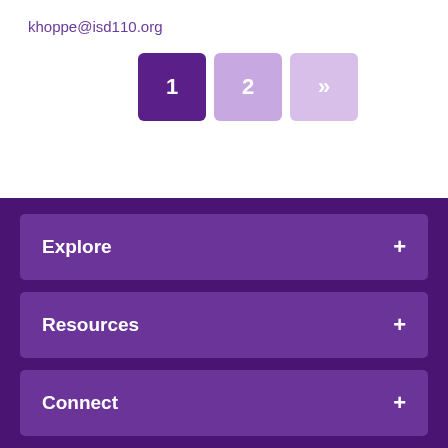khoppe@isd110.org
[Figure (infographic): Pagination buttons showing page 1 (dark purple, active), page 2 (light purple), and next arrow >> (lighter purple)]
Explore +
Resources +
Connect +